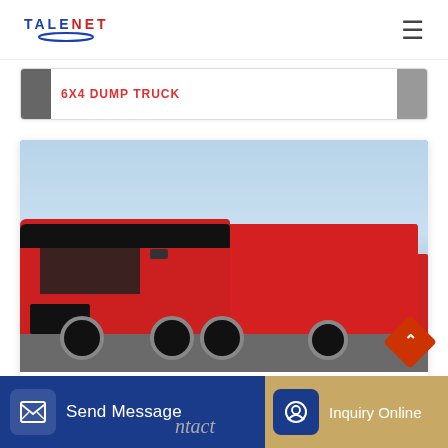TALENET
6x4 DUMP TRUCK
[Figure (photo): Red second-hand 8x4 dump truck (tipper truck) with orange/red body, parked in a yard. A second similar red dump truck is visible in the background. Blue sky visible above.]
SECOND-HAND 8X4 DUMP TRUCK
Send Message
Inquiry Online